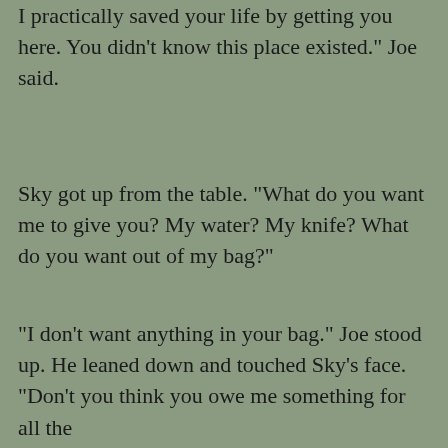I practically saved your life by getting you here. You didn't know this place existed." Joe said.
Sky got up from the table. "What do you want me to give you? My water? My knife? What do you want out of my bag?"
"I don't want anything in your bag." Joe stood up. He leaned down and touched Sky's face. "Don't you think you owe me something for all the